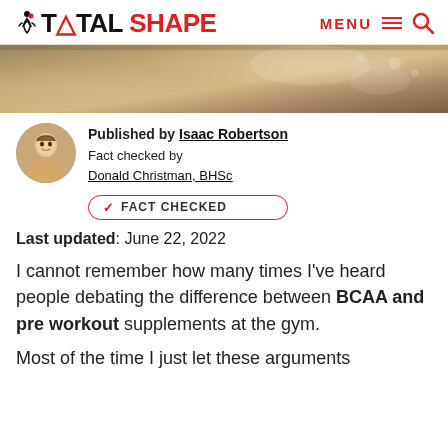TOTAL SHAPE — MENU
[Figure (photo): Close-up photo of white powder/supplement ingredients on a surface]
Published by Isaac Robertson
Fact checked by Donald Christman, BHSc
✓ FACT CHECKED
Last updated: June 22, 2022
I cannot remember how many times I've heard people debating the difference between BCAA and pre workout supplements at the gym.
Most of the time I just let these arguments